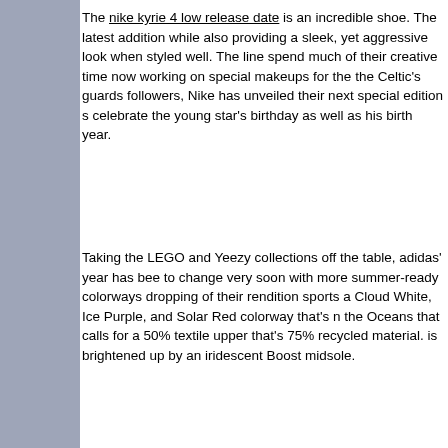The nike kyrie 4 low release date is an incredible shoe. The latest addition while also providing a sleek, yet aggressive look when styled well. The line spend much of their creative time now working on special makeups for the the Celtic's guards followers, Nike has unveiled their next special edition s celebrate the young star's birthday as well as his birth year.
Taking the LEGO and Yeezy collections off the table, adidas' year has bee to change very soon with more summer-ready colorways dropping of their rendition sports a Cloud White, Ice Purple, and Solar Red colorway that's n the Oceans that calls for a 50% textile upper that's 75% recycled material. is brightened up by an iridescent Boost midsole.
adidas will be giving the adidas nmd r1 nere uomo a new "Core Black" ma silhouette.Featuring a Core Black, Silver Metallic, and Carbon makeover, t jackets. The upper features a knitted design that's accented by TPU detaili detailing is also added to the makeover which adds to the safety and outdo finishes off the brand new design."
Discussion suivante   Discussion précédente
Aperçu avant impres...